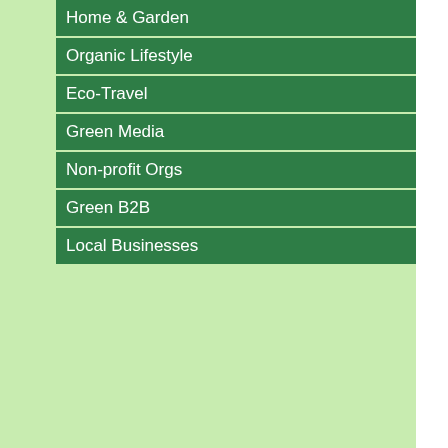Home & Garden
Organic Lifestyle
Eco-Travel
Green Media
Non-profit Orgs
Green B2B
Local Businesses
sausalito,
★ Razor Rack Preservation Syste...
Canton,
★ Opas So...
Hollywood,
★ Phoenicia Natural Skin Ca... Produ...
Philadelphia,
★ organics4y...
Bern, Switzerla...
★ Jenulen...
New York,
★ Zatik In...
Glendale,
★ Botanial Skin Wor...
Baltimore,
★ Max Green Alchemy Limit...
San Francisco,